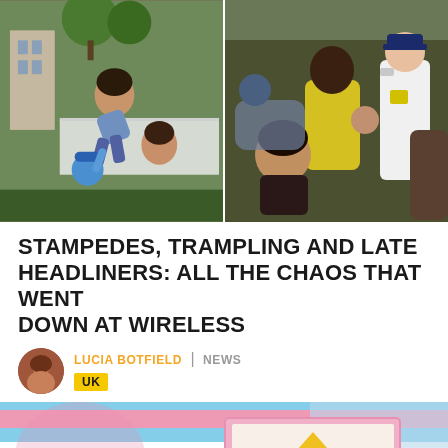[Figure (photo): Two photos side by side: left shows a woman climbing or being lifted over a fence at an outdoor event, people below her; right shows a crowd of people pressed together with a police officer in white uniform visible in background.]
STAMPEDES, TRAMPLING AND LATE HEADLINERS: ALL THE CHAOS THAT WENT DOWN AT WIRELESS
LUCIA BOTFIELD | NEWS UK
[Figure (photo): Bottom partial image showing trans pride flag colors (pink, blue, white stripes) and an inset card reading 'Did you know?' with a yellow triangle graphic.]